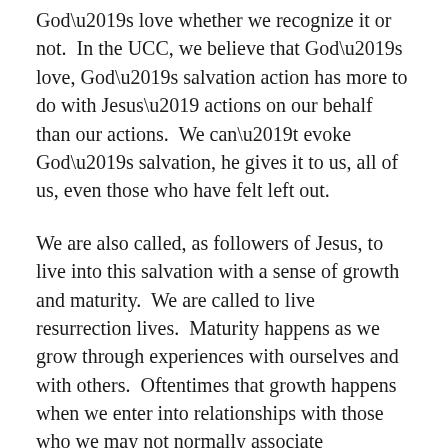God's love whether we recognize it or not.  In the UCC, we believe that God's love, God's salvation action has more to do with Jesus' actions on our behalf than our actions.  We can't evoke God's salvation, he gives it to us, all of us, even those who have felt left out.
We are also called, as followers of Jesus, to live into this salvation with a sense of growth and maturity.  We are called to live resurrection lives.  Maturity happens as we grow through experiences with ourselves and with others.  Oftentimes that growth happens when we enter into relationships with those who we may not normally associate with...God has so many friendships, so much growth, so much life, real life, waiting for each of us and for this church.  As we become welcoming in our lives personally and corporately as a church, we will